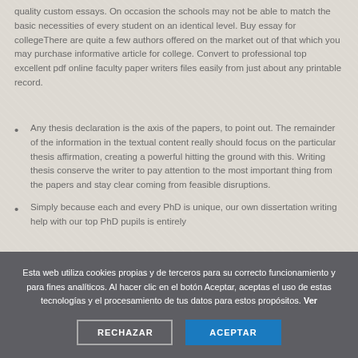quality custom essays. On occasion the schools may not be able to match the basic necessities of every student on an identical level. Buy essay for collegeThere are quite a few authors offered on the market out of that which you may purchase informative article for college. Convert to professional top excellent pdf online faculty paper writers files easily from just about any printable record.
Any thesis declaration is the axis of the papers, to point out. The remainder of the information in the textual content really should focus on the particular thesis affirmation, creating a powerful hitting the ground with this. Writing thesis conserve the writer to pay attention to the most important thing from the papers and stay clear coming from feasible disruptions.
Simply because each and every PhD is unique, our own dissertation writing help with our top PhD pupils is entirely...
Esta web utiliza cookies propias y de terceros para su correcto funcionamiento y para fines analíticos. Al hacer clic en el botón Aceptar, aceptas el uso de estas tecnologías y el procesamiento de tus datos para estos propósitos. Ver